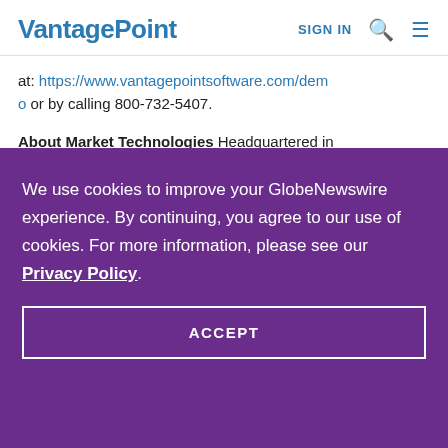VantagePoint  SIGN IN
at: https://www.vantagepointsoftware.com/demo or by calling 800-732-5407.
About Market Technologies Headquartered in
We use cookies to improve your GlobeNewswire experience. By continuing, you agree to our use of cookies. For more information, please see our Privacy Policy.
ACCEPT